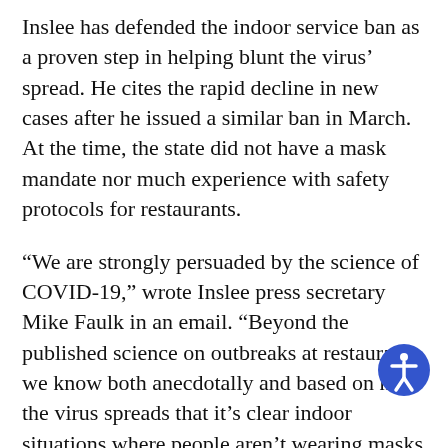Inslee has defended the indoor service ban as a proven step in helping blunt the virus' spread. He cites the rapid decline in new cases after he issued a similar ban in March. At the time, the state did not have a mask mandate nor much experience with safety protocols for restaurants.
“We are strongly persuaded by the science of COVID-19,” wrote Inslee press secretary Mike Faulk in an email. “Beyond the published science on outbreaks at restaurants, we know both anecdotally and based on how the virus spreads that it’s clear indoor situations where people aren’t wearing masks (restaurants) or are creating a lot of aerosolized particles through heavy breathing (working out) are inherently higher risk.”
Lawmakers said they were surprised by the